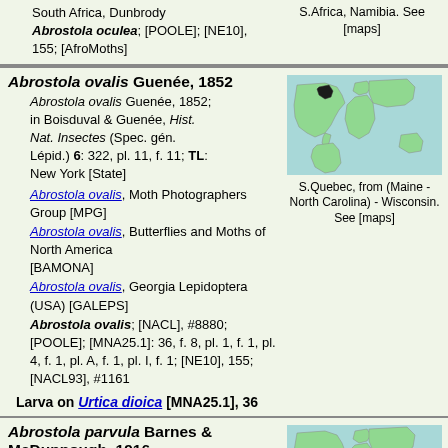South Africa, Dunbrody
Abrostola oculea; [POOLE]; [NE10], 155; [AfroMoths]
S.Africa, Namibia. See [maps]
Abrostola ovalis Guenée, 1852
Abrostola ovalis Guenée, 1852; in Boisduval & Guenée, Hist. Nat. Insectes (Spec. gén. Lépid.) 6: 322, pl. 11, f. 11; TL: New York [State]
Abrostola ovalis, Moth Photographers Group [MPG]
Abrostola ovalis, Butterflies and Moths of North America [BAMONA]
Abrostola ovalis, Georgia Lepidoptera (USA) [GALEPS]
Abrostola ovalis; [NACL], #8880; [POOLE]; [MNA25.1]: 36, f. 8, pl. 1, f. 1, pl. 4, f. 1, pl. A, f. 1, pl. I, f. 1; [NE10], 155; [NACL93], #1161
[Figure (map): World map showing distribution in S.Quebec, from (Maine - North Carolina) - Wisconsin.]
S.Quebec, from (Maine - North Carolina) - Wisconsin. See [maps]
Larva on Urtica dioica [MNA25.1], 36
Abrostola parvula Barnes & McDunnough, 1916
Abrostola parvula Barnes & McDunnough, 1916; Can. Ent. 48 (7): 225; TL: S.Arizona
Abrostola mariana Walter, 1928; Proc. Ent. Soc. Washington 30 (8): 138; TL: Tempe, Arizona
[Figure (map): World map showing distribution in S.Nevada, California.]
S.Nevada, California,